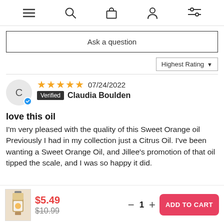Navigation bar with menu, search, bag, profile, and filter icons
Ask a question
Highest Rating ▼
[Figure (other): Reviewer avatar circle with letter C and blue verification checkmark]
★★★★★ 07/24/2022
Verified Claudia Boulden
love this oil
I'm very pleased with the quality of this Sweet Orange oil Previously I had in my collection just a Citrus Oil. I've been wanting a Sweet Orange Oil, and Jillee's promotion of that oil tipped the scale, and I was so happy it did.
$5.49  $10.99  − 1 +  ADD TO CART